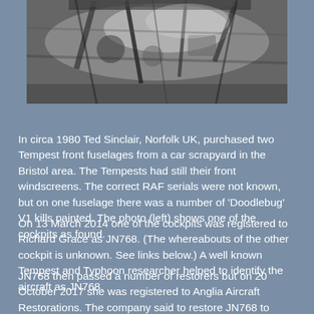[Figure (photo): Black and white photograph of a Tempest aircraft cockpit as found, showing the interior structure and windscreen area]
In circa 1980 Ted Sinclair, Norfolk UK, purchased two Tempest front fuselages from a car scrapyard in the Bristol area. The Tempests had still their front windscreens. The correct RAF serials were not known, but on one fuselage there was a number of 'Doodlebug' V1 kills painted. The photo (left) shows one of the cockpits as found.
On 13 March 2014 one of the cockpits was registered to Richard Grace as JN768. (The whereabouts of the other cockpit is unknown. See links below.) A well known Tempest and Typhoon researcher helped to identify the aircraft as JN768.
JN768 then passed a number of restorers but on 20 October 2017 she was registered to Anglia Aircraft Restorations. The company said to restore JN768 to flying condition.